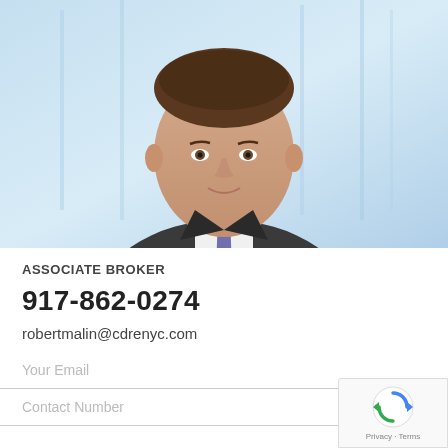[Figure (photo): Professional headshot of a man in a dark suit with a blue/purple tie, light blue background suggesting a city building]
ASSOCIATE BROKER
917-862-0274
robertmalin@cdrenyc.com
Your Email
Contact Number
[Figure (logo): reCAPTCHA badge with spinning arrows icon and Privacy · Terms text]